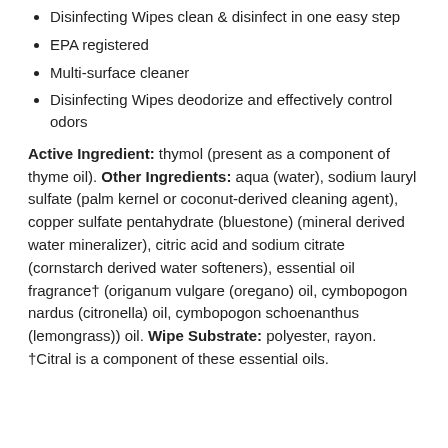Disinfecting Wipes clean & disinfect in one easy step
EPA registered
Multi-surface cleaner
Disinfecting Wipes deodorize and effectively control odors
Active Ingredient: thymol (present as a component of thyme oil). Other Ingredients: aqua (water), sodium lauryl sulfate (palm kernel or coconut-derived cleaning agent), copper sulfate pentahydrate (bluestone) (mineral derived water mineralizer), citric acid and sodium citrate (cornstarch derived water softeners), essential oil fragrance† (origanum vulgare (oregano) oil, cymbopogon nardus (citronella) oil, cymbopogon schoenanthus (lemongrass)) oil. Wipe Substrate: polyester, rayon. †Citral is a component of these essential oils.